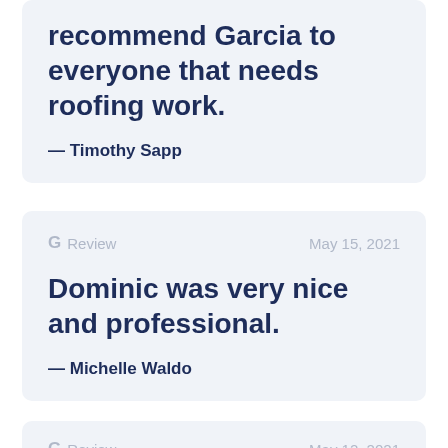recommend Garcia to everyone that needs roofing work.
— Timothy Sapp
G Review   May 15, 2021
Dominic was very nice and professional.
— Michelle Waldo
G Review   May 12, 2021